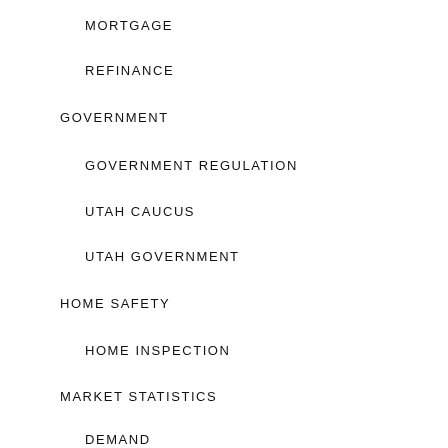MORTGAGE
REFINANCE
GOVERNMENT
GOVERNMENT REGULATION
UTAH CAUCUS
UTAH GOVERNMENT
HOME SAFETY
HOME INSPECTION
MARKET STATISTICS
DEMAND